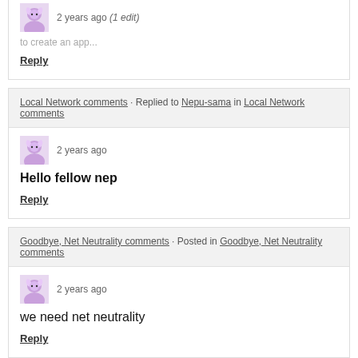2 years ago (1 edit)
Reply
Local Network comments · Replied to Nepu-sama in Local Network comments
2 years ago
Hello fellow nep
Reply
Goodbye, Net Neutrality comments · Posted in Goodbye, Net Neutrality comments
2 years ago
we need net neutrality
Reply